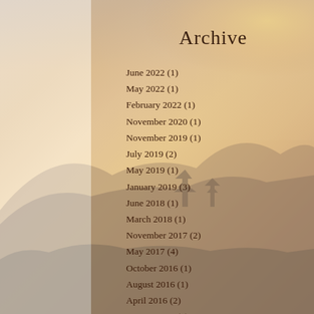[Figure (photo): Background landscape photo of a Chinese pagoda/temple on a misty hillside at sunset with warm orange-golden tones]
Archive
June 2022 (1)
May 2022 (1)
February 2022 (1)
November 2020 (1)
November 2019 (1)
July 2019 (2)
May 2019 (1)
January 2019 (3)
June 2018 (1)
March 2018 (1)
November 2017 (2)
May 2017 (4)
October 2016 (1)
August 2016 (1)
April 2016 (2)
August 2015 (1)
July 2015 (1)